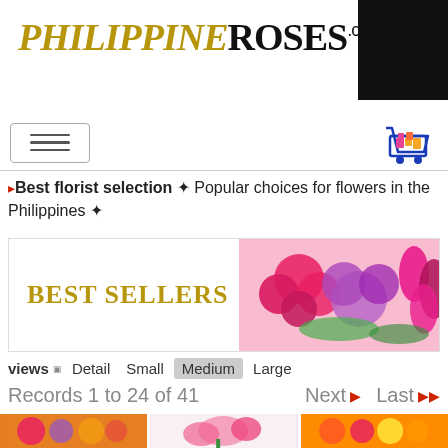[Figure (logo): PhilippineRoses.com logo in gold italic and black serif fonts]
[Figure (photo): Dark/black square image in top right corner]
[Figure (illustration): Hamburger menu icon (three horizontal lines in a rounded box)]
[Figure (illustration): Shopping cart icon with colorful items]
▸Best florist selection ✦ Popular choices for flowers in the Philippines ✦
[Figure (photo): Best Sellers banner with colorful roses, pink and purple flowers on right side and BEST SELLERS text on left]
views □ Detail Small Medium Large
Records 1 to 24 of 41    Next ▶ Last ▶▶
[Figure (photo): Colorful mixed flower bouquet with orange gerberas, purple daisies, yellow flowers]
[Figure (photo): Pink stargazer lily bouquet in glass vase]
[Figure (photo): Bright mixed gerbera daisy arrangement in orange, pink, yellow]